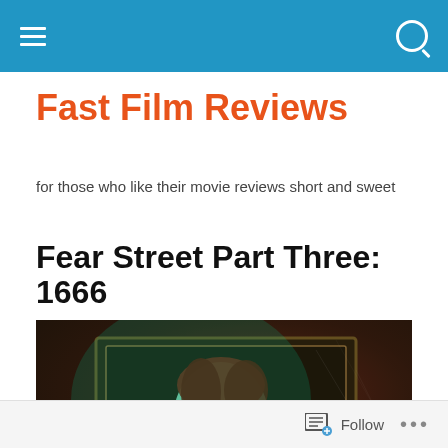Fast Film Reviews — navigation bar
Fast Film Reviews
for those who like their movie reviews short and sweet
Fear Street Part Three: 1666
[Figure (photo): Movie still from Fear Street Part Three: 1666 showing a young woman with green-tinted lighting standing in front of a dark ornate framed painting]
Follow ...